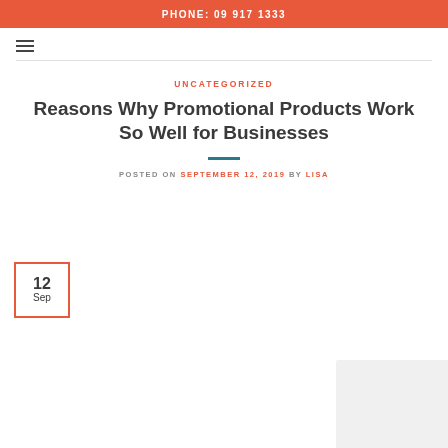PHONE: 09 917 1333
UNCATEGORIZED
Reasons Why Promotional Products Work So Well for Businesses
POSTED ON SEPTEMBER 12, 2019 BY LISA
12 Sep
[Figure (photo): Partial image visible at bottom right corner]